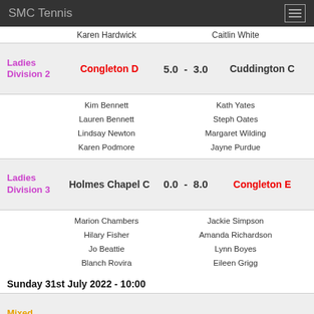SMC Tennis
Karen Hardwick | Caitlin White
| Division | Home | Score | Away |
| --- | --- | --- | --- |
| Ladies Division 2 | Congleton D | 5.0 - 3.0 | Cuddington C |
Kim Bennett / Lauren Bennett / Lindsay Newton / Karen Podmore | Kath Yates / Steph Oates / Margaret Wilding / Jayne Purdue
| Division | Home | Score | Away |
| --- | --- | --- | --- |
| Ladies Division 3 | Holmes Chapel C | 0.0 - 8.0 | Congleton E |
Marion Chambers / Hilary Fisher / Jo Beattie / Blanch Rovira | Jackie Simpson / Amanda Richardson / Lynn Boyes / Eileen Grigg
Sunday 31st July 2022 - 10:00
| Division | Home | Score | Away |
| --- | --- | --- | --- |
| Mixed Division 1 | Congleton C | 1.0 - 7.0 | Hartford A |
Sue Hayes-Smith | Carmen Dowd